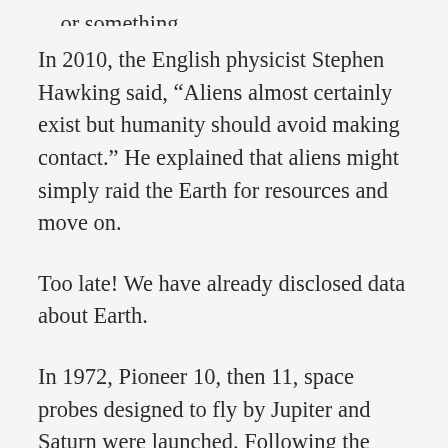In 2010, the English physicist Stephen Hawking said, “Aliens almost certainly exist but humanity should avoid making contact.” He explained that aliens might simply raid the Earth for resources and move on.
Too late! We have already disclosed data about Earth.
In 1972, Pioneer 10, then 11, space probes designed to fly by Jupiter and Saturn were launched. Following the